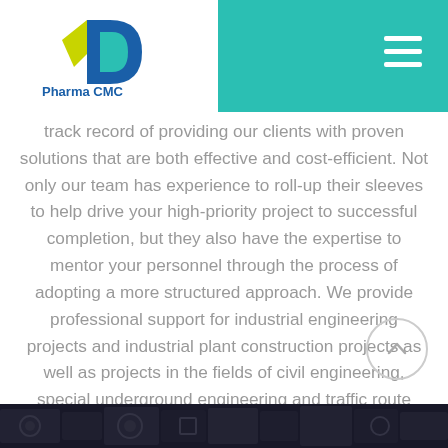Pharma CMC
track record of providing our clients with proven solutions that are both effective and cost-efficient. Not only our team has experience to roll-up their sleeves to help drive your high-priority project to successful completion, but they also have the expertise to mentor your personnel through the process of adopting a more structured approach. We provide professional support for industrial engineering projects and industrial plant construction projects as well as projects in the fields of civil engineering, special underground engineering and traffic route engineering (e.g. road and railway construction).
[Figure (other): Dark engineering/construction themed image strip at the bottom of the page]